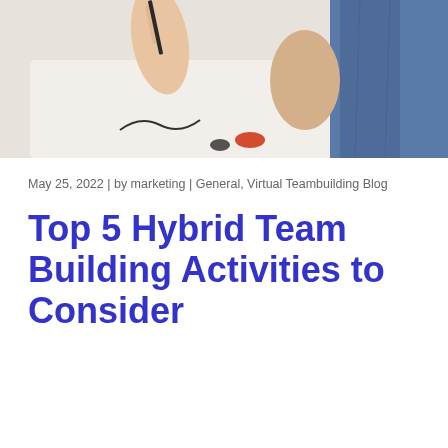[Figure (photo): A cropped photo showing hands drawing or painting on a white table surface, with a person wearing blue jeans visible on the right side.]
May 25, 2022 | by marketing | General, Virtual Teambuilding Blog
Top 5 Hybrid Team Building Activities to Consider